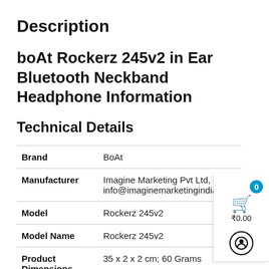Description
boAt Rockerz 245v2 in Ear Bluetooth Neckband Headphone Information
Technical Details
| Field | Value |
| --- | --- |
| Brand | BoAt |
| Manufacturer | Imagine Marketing Pvt Ltd, info@imaginemarketingindia.com |
| Model | Rockerz 245v2 |
| Model Name | Rockerz 245v2 |
| Product Dimensions | 35 x 2 x 2 cm; 60 Grams |